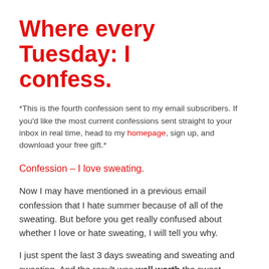Where every Tuesday:  I confess.
*This is the fourth confession sent to my email subscribers.  If you'd like the most current confessions sent straight to your inbox in real time, head to my homepage, sign up, and download your free gift.*
Confession –  I love sweating.
Now  I may have mentioned in a previous email confession that  I hate summer because of all of the sweating.  But before you get really confused about whether  I love or hate sweating,  I will tell you why.
I just spent the last 3 days sweating and sweating and sweating.  And the result was well worth the sweat.
I watched a team of 8 (mostly strangers to each other) join together and run across the state of Iowa.  Now for those of you who are